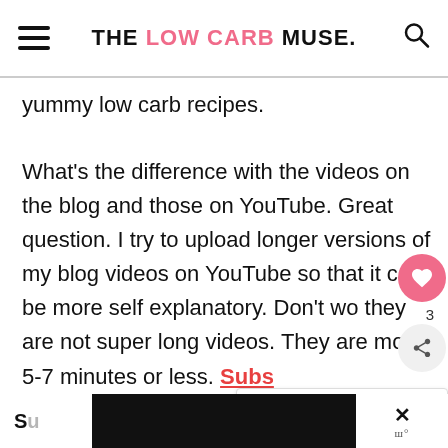THE LOW CARB MUSE.
yummy low carb recipes.
What's the difference with the videos on the blog and those on YouTube. Great question. I try to upload longer versions of my blog videos on YouTube so that it can be more self explanatory. Don't wo they are not super long videos. They are mostly 5-7 minutes or less. Subs here! Thank you so much for your